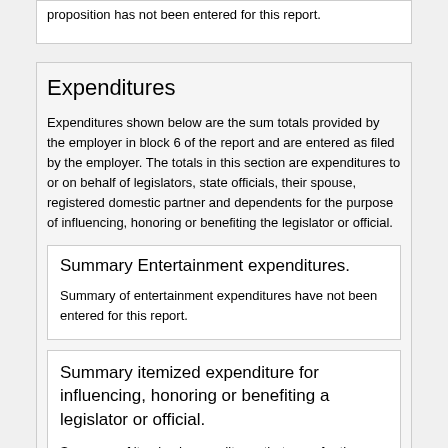proposition has not been entered for this report.
Expenditures
Expenditures shown below are the sum totals provided by the employer in block 6 of the report and are entered as filed by the employer. The totals in this section are expenditures to or on behalf of legislators, state officials, their spouse, registered domestic partner and dependents for the purpose of influencing, honoring or benefiting the legislator or official.
Summary Entertainment expenditures.
Summary of entertainment expenditures have not been entered for this report.
Summary itemized expenditure for influencing, honoring or benefiting a legislator or official.
Summary of itemized expenditures that were for the purpose of influencing, honoring or benefiting a legislator or official have not been entered for this report.